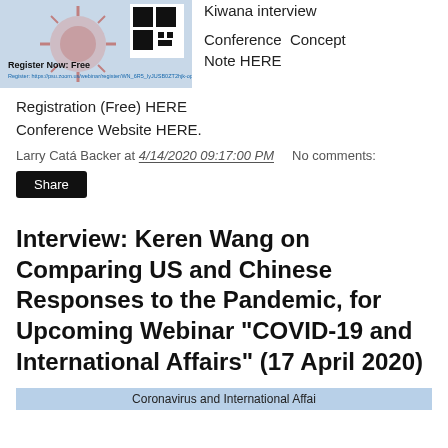[Figure (screenshot): Webinar registration banner with coronavirus image, QR code, 'Register Now: Free' text and registration link]
Kiwana interview
Conference Concept Note HERE
Registration (Free) HERE
Conference Website HERE.
Larry Catá Backer at 4/14/2020 09:17:00 PM     No comments:
Share
Interview: Keren Wang on Comparing US and Chinese Responses to the Pandemic, for Upcoming Webinar "COVID-19 and International Affairs" (17 April 2020)
[Figure (screenshot): Partial banner reading 'Coronavirus and International Affairs']